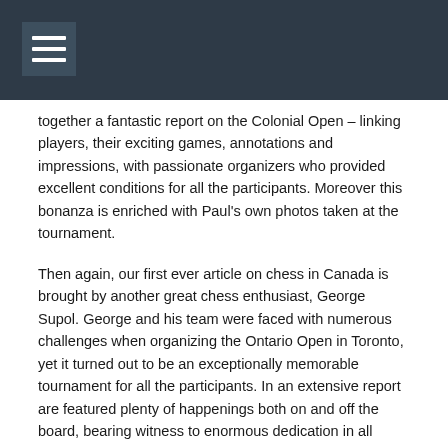together a fantastic report on the Colonial Open – linking players, their exciting games, annotations and impressions, with passionate organizers who provided excellent conditions for all the participants. Moreover this bonanza is enriched with Paul's own photos taken at the tournament.
Then again, our first ever article on chess in Canada is brought by another great chess enthusiast, George Supol. George and his team were faced with numerous challenges when organizing the Ontario Open in Toronto, yet it turned out to be an exceptionally memorable tournament for all the participants. In an extensive report are featured plenty of happenings both on and off the board, bearing witness to enormous dedication in all aspects of the game and its organization. This inspiring report will hopefully serve as an encouragement for more contributions from north of the border.
When it comes to memorable events, GM Alex Fishbein shares his recollections of one of his own which saw him travel all the way to Wyoming – back to where he is officially documented as being the first chess grandmaster from this state! In a nostalgic